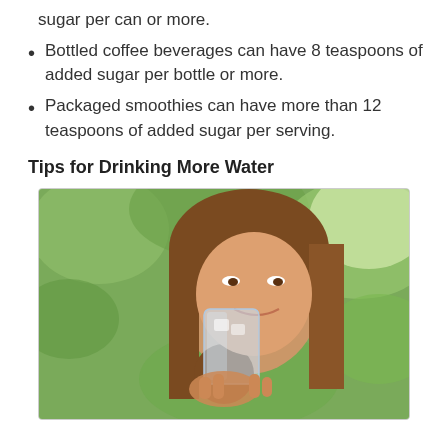sugar per can or more.
Bottled coffee beverages can have 8 teaspoons of added sugar per bottle or more.
Packaged smoothies can have more than 12 teaspoons of added sugar per serving.
Tips for Drinking More Water
[Figure (photo): A young woman with long brown hair drinking water from a clear glass outdoors with green bokeh background.]